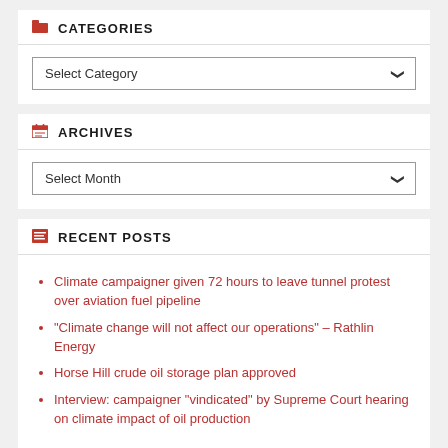CATEGORIES
Select Category
ARCHIVES
Select Month
RECENT POSTS
Climate campaigner given 72 hours to leave tunnel protest over aviation fuel pipeline
“Climate change will not affect our operations” – Rathlin Energy
Horse Hill crude oil storage plan approved
Interview: campaigner “vindicated” by Supreme Court hearing on climate impact of oil production